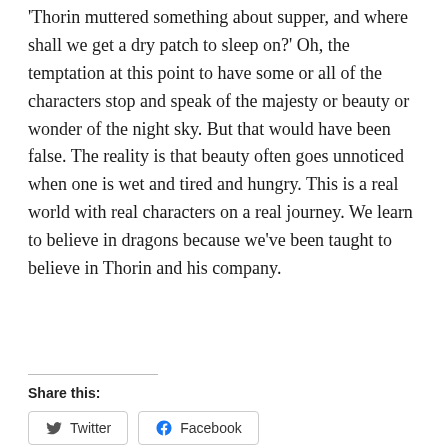'Thorin muttered something about supper, and where shall we get a dry patch to sleep on?' Oh, the temptation at this point to have some or all of the characters stop and speak of the majesty or beauty or wonder of the night sky. But that would have been false. The reality is that beauty often goes unnoticed when one is wet and tired and hungry. This is a real world with real characters on a real journey. We learn to believe in dragons because we've been taught to believe in Thorin and his company.
Share this:
Twitter  Facebook